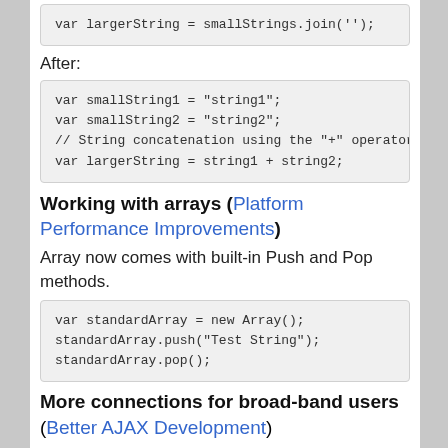var largerString = smallStrings.join('');
After:
var smallString1 = "string1";
var smallString2 = "string2";
// String concatenation using the "+" operator
var largerString = string1 + string2;
Working with arrays (Platform Performance Improvements)
Array now comes with built-in Push and Pop methods.
var standardArray = new Array();
standardArray.push("Test String");
standardArray.pop();
More connections for broad-band users
(Better AJAX Development)